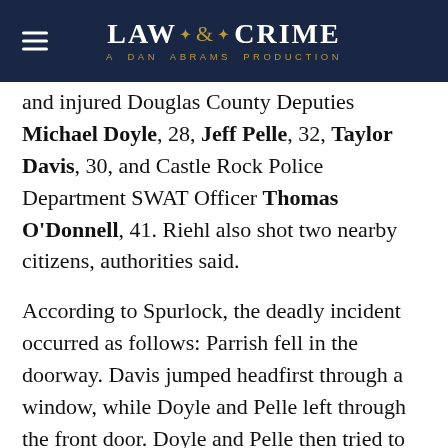LAW & CRIME — A DAN ABRAMS PRODUCTION
and injured Douglas County Deputies Michael Doyle, 28, Jeff Pelle, 32, Taylor Davis, 30, and Castle Rock Police Department SWAT Officer Thomas O'Donnell, 41. Riehl also shot two nearby citizens, authorities said.
According to Spurlock, the deadly incident occurred as follows: Parrish fell in the doorway. Davis jumped headfirst through a window, while Doyle and Pelle left through the front door. Doyle and Pelle then tried to get back into the apartment, but couldn't because of all the gunfire.
The sheriff's office said that donations to Parrish's